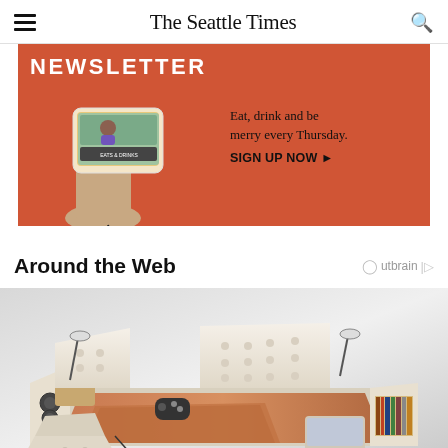The Seattle Times
[Figure (infographic): Newsletter advertisement banner with orange/red background showing text 'NEWSLETTER', hand holding tablet with newsletter content, tagline 'Eat, drink and be merry every Thursday.' and 'SIGN UP NOW▶']
Around the Web
[Figure (photo): Photo of a high-tech luxury smart bed with cream/beige upholstery, speakers on the side, reading lamps, built-in shelving, adjustable sections, and a laptop on it]